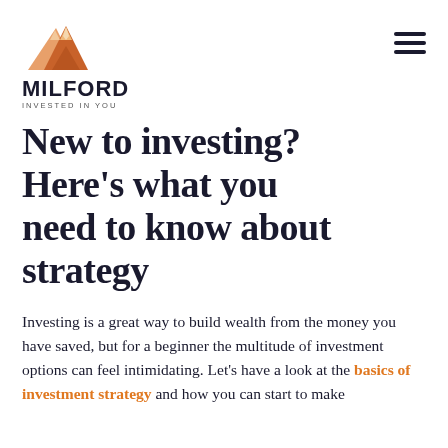[Figure (logo): Milford Asset Management logo — orange mountain peaks illustration with MILFORD text and INVESTED IN YOU tagline]
New to investing? Here's what you need to know about strategy
Investing is a great way to build wealth from the money you have saved, but for a beginner the multitude of investment options can feel intimidating. Let's have a look at the basics of investment strategy and how you can start to make